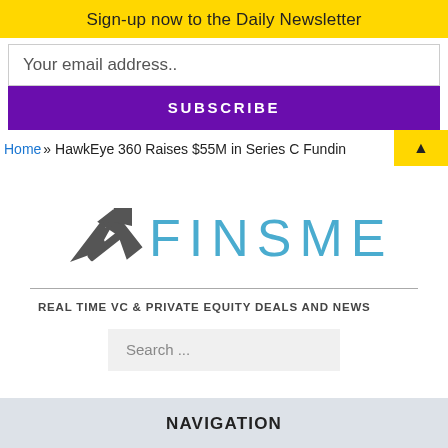Sign-up now to the Daily Newsletter
Your email address..
SUBSCRIBE
Home » HawkEye 360 Raises $55M in Series C Fundin
[Figure (logo): FINSMES logo with stylized upward arrow icon in dark gray and teal text spelling FINSMES]
REAL TIME VC & PRIVATE EQUITY DEALS AND NEWS
Search ...
NAVIGATION